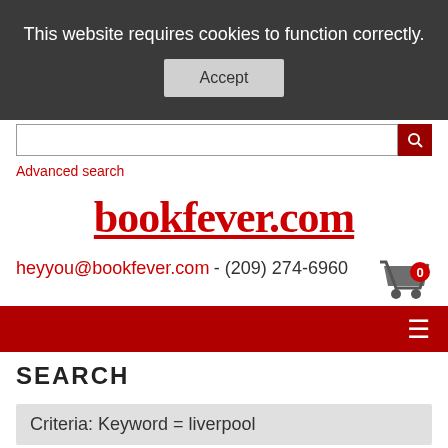This website requires cookies to function correctly.
Accept
Advanced search
bookfever.com
heyyou@bookfever.com - (209) 274-6960
[Figure (other): Shopping cart icon with badge showing 0]
[Figure (other): Red navigation bar with hamburger menu icon]
SEARCH
Criteria: Keyword = liverpool